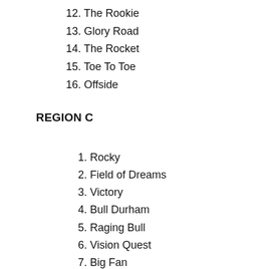12. The Rookie
13. Glory Road
14. The Rocket
15. Toe To Toe
16. Offside
REGION C
1. Rocky
2. Field of Dreams
3. Victory
4. Bull Durham
5. Raging Bull
6. Vision Quest
7. Big Fan
8. Cinderella Man
9. Remember The Titans